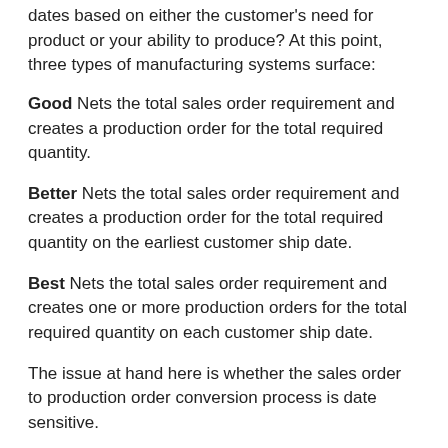dates based on either the customer's need for product or your ability to produce? At this point, three types of manufacturing systems surface:
Good Nets the total sales order requirement and creates a production order for the total required quantity.
Better Nets the total sales order requirement and creates a production order for the total required quantity on the earliest customer ship date.
Best Nets the total sales order requirement and creates one or more production orders for the total required quantity on each customer ship date.
The issue at hand here is whether the sales order to production order conversion process is date sensitive.
Good systems create the production order but ignore the customer ship date issue entirely.
Better systems consider the customer ship date, but avoid